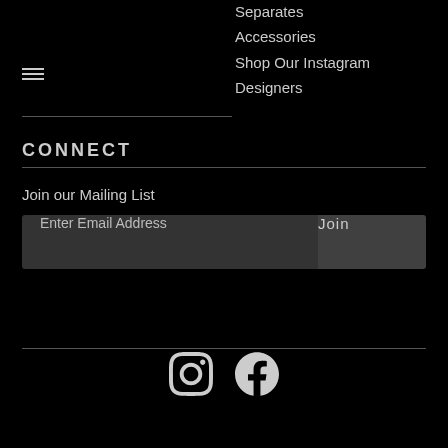Separates
Accessories
Shop Our Instagram
Designers
CONNECT
Join our Mailing List
Enter Email Address
Join
[Figure (other): Instagram and Facebook social media icons]